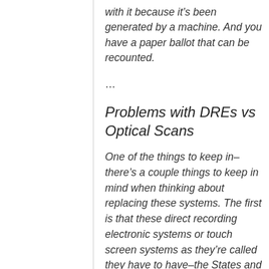with it because it’s been generated by a machine. And you have a paper ballot that can be recounted.
…
Problems with DREs vs Optical Scans
One of the things to keep in–there’s a couple things to keep in mind when thinking about replacing these systems. The first is that these direct recording electronic systems or touch screen systems as they’re called they have to have–the States and localities that buy these systems have to have maintenance contracts with the vendors because the…